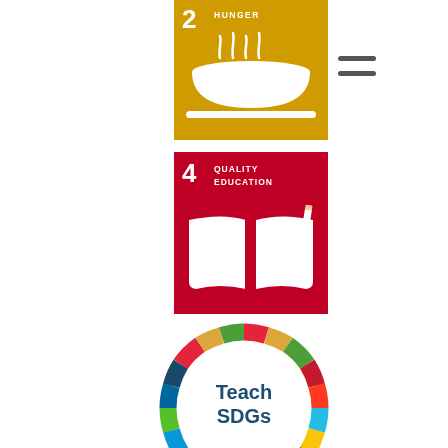[Figure (infographic): UN SDG Goal 2 Zero Hunger icon - golden/yellow square with bowl and steam icon, number 2 and text HUNGER]
[Figure (infographic): UN SDG Goal 4 Quality Education icon - red/crimson square with open book and pencil icon, number 4 and text QUALITY EDUCATION]
[Figure (logo): Teach SDGs circular logo with colorful SDG wheel segments around text Teach SDGs]
[Figure (infographic): UN SDG Goal 13 Climate Action icon - green square with eye/globe icon, number 13 and text CLIMATE ACTION]
[Figure (infographic): UN SDG Goal 17 Partnerships for the Goals icon - navy blue square with interlocking circles icon, number 17 and text PARTNERSHIPS FOR THE GOALS]